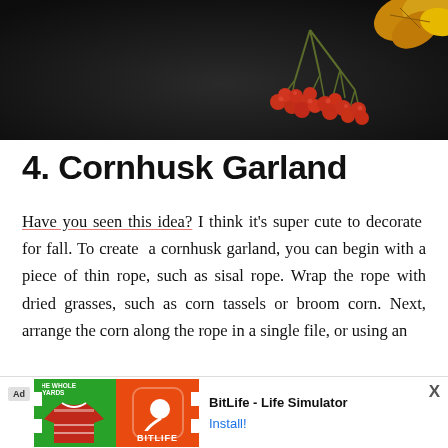[Figure (photo): Dark background photograph showing red berries on branches and yellow/orange autumn leaves and decorative elements against a dark chalkboard-like surface.]
4. Cornhusk Garland
Have you seen this idea? I think it's super cute to decorate for fall. To create a cornhusk garland, you can begin with a piece of thin rope, such as sisal rope. Wrap the rope with dried grasses, such as corn tassels or broom corn. Next, arrange the corn along the rope in a single file, or using an
[Figure (other): Advertisement banner: BitLife - Life Simulator app ad with green and orange football/soccer themed imagery on left, BitLife sperm logo on orange background, and Install button on right.]